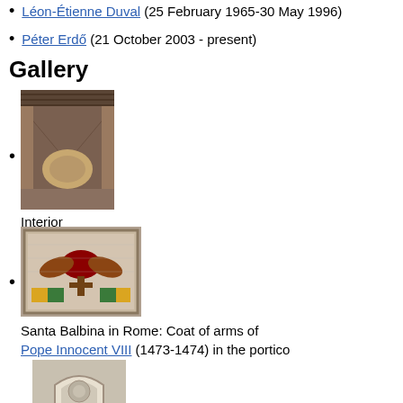Léon-Étienne Duval (25 February 1965-30 May 1996)
Péter Erdő (21 October 2003 - present)
Gallery
[Figure (photo): Interior of a church with wooden ceiling and apse mosaic]
Interior
[Figure (photo): Santa Balbina in Rome: Coat of arms mosaic in the portico]
Santa Balbina in Rome: Coat of arms of Pope Innocent VIII (1473-1474) in the portico
[Figure (photo): Arched architectural detail]